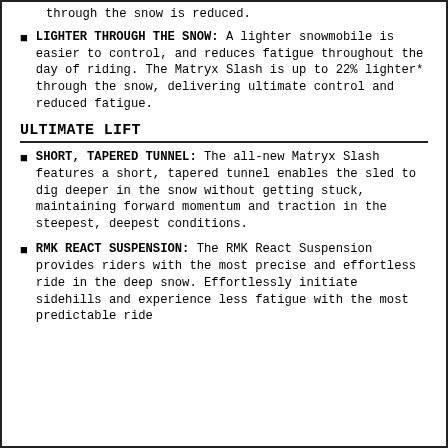through the snow is reduced.
LIGHTER THROUGH THE SNOW: A lighter snowmobile is easier to control, and reduces fatigue throughout the day of riding. The Matryx Slash is up to 22% lighter* through the snow, delivering ultimate control and reduced fatigue.
ULTIMATE LIFT
SHORT, TAPERED TUNNEL: The all-new Matryx Slash features a short, tapered tunnel enables the sled to dig deeper in the snow without getting stuck, maintaining forward momentum and traction in the steepest, deepest conditions.
RMK REACT SUSPENSION: The RMK React Suspension provides riders with the most precise and effortless ride in the deep snow. Effortlessly initiate sidehills and experience less fatigue with the most predictable ride